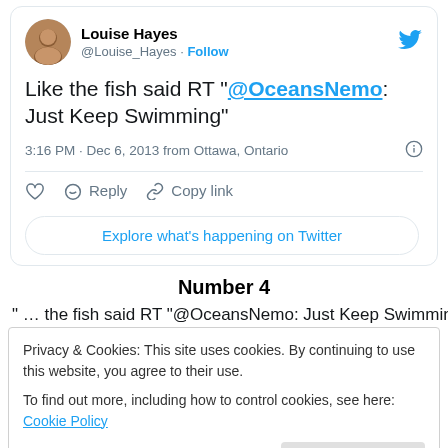[Figure (screenshot): Tweet card from Louise Hayes (@Louise_Hayes) with Follow button and Twitter bird logo. Tweet text: Like the fish said RT "@OceansNemo: Just Keep Swimming". Timestamp: 3:16 PM · Dec 6, 2013 from Ottawa, Ontario. Actions: like, Reply, Copy link. Button: Explore what's happening on Twitter.]
Number 4
varsity – so many happy memories) and to their new High
[Figure (screenshot): Cookie consent banner: Privacy & Cookies: This site uses cookies. By continuing to use this website, you agree to their use. To find out more, including how to control cookies, see here: Cookie Policy. Button: Close and accept.]